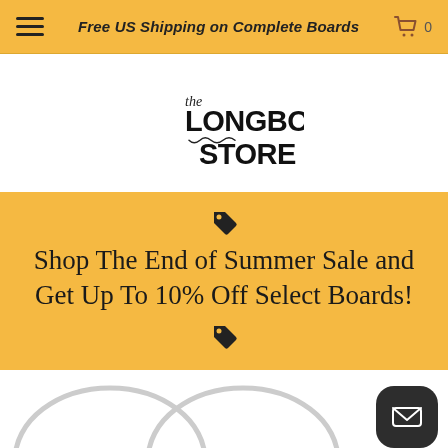Free US Shipping on Complete Boards
[Figure (logo): The Longboard Store logo in handwritten/display style text]
Shop The End of Summer Sale and Get Up To 10% Off Select Boards!
[Figure (illustration): Two longboard outlines partially visible at the bottom of the page, with a chat/email button in the bottom right corner]